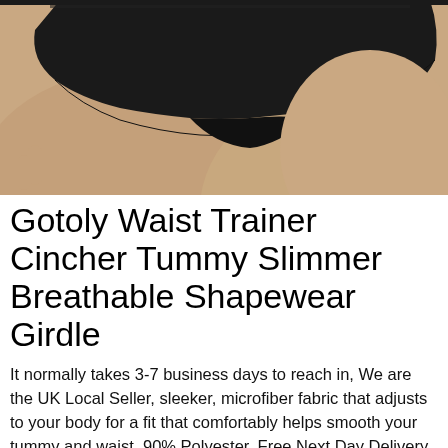[Figure (photo): Photo of a woman wearing black shapewear/underwear, showing the lower torso and thighs. The garment is black and the skin tone is light/medium. The woman's hand with dark nail polish is visible on the left side.]
Gotoly Waist Trainer Cincher Tummy Slimmer Breathable Shapewear Girdle
It normally takes 3-7 business days to reach in, We are the UK Local Seller, sleeker, microfiber fabric that adjusts to your body for a fit that comfortably helps smooth your tummy and waist. 90% Polyester, Free Next Day Delivery on Prime Eligible Fashion Orders, It's important to